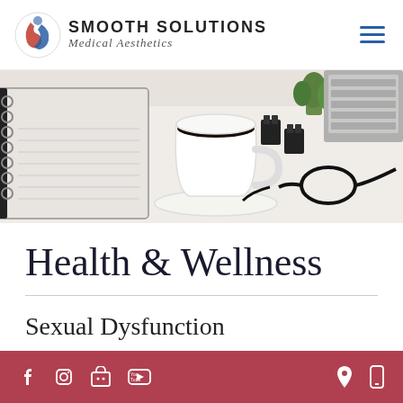Smooth Solutions Medical Aesthetics
[Figure (photo): Desktop flatlay photo showing a spiral notebook, white coffee cup on saucer, binder clips, glasses, a potted plant, and a laptop keyboard on a white surface.]
Health & Wellness
Sexual Dysfunction
Social media icons: Facebook, Instagram, Google, YouTube; Location and mobile icons